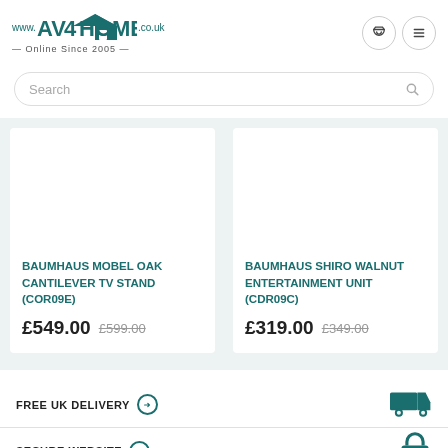[Figure (logo): AV4Home logo with house graphic, www.AV4HOME.co.uk, Online Since 2005]
Search
BAUMHAUS MOBEL OAK CANTILEVER TV STAND (COR09E) £549.00 £599.00
BAUMHAUS SHIRO WALNUT ENTERTAINMENT UNIT (CDR09C) £319.00 £349.00
FREE UK DELIVERY →
SECURE WEBSITE →